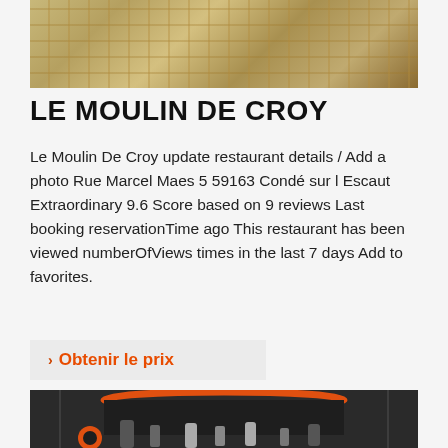[Figure (photo): Aerial or elevated view of industrial scaffolding structure with yellow metal framework]
LE MOULIN DE CROY
Le Moulin De Croy update restaurant details / Add a photo Rue Marcel Maes 5 59163 Condé sur l Escaut Extraordinary 9.6 Score based on 9 reviews Last booking reservationTime ago This restaurant has been viewed numberOfViews times in the last 7 days Add to favorites.
Obtenir le prix
[Figure (photo): Close-up of large black industrial machinery with orange/red circular rings and various hydraulic or pneumatic components hanging from it]